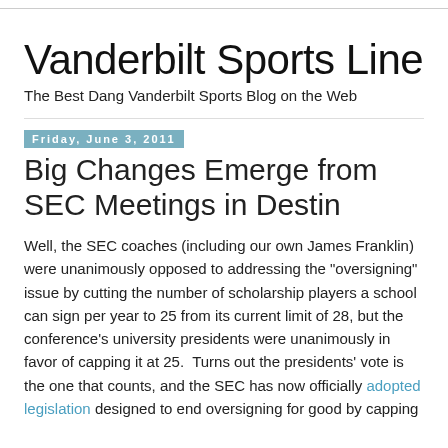Vanderbilt Sports Line
The Best Dang Vanderbilt Sports Blog on the Web
Friday, June 3, 2011
Big Changes Emerge from SEC Meetings in Destin
Well, the SEC coaches (including our own James Franklin) were unanimously opposed to addressing the "oversigning" issue by cutting the number of scholarship players a school can sign per year to 25 from its current limit of 28, but the conference's university presidents were unanimously in favor of capping it at 25.  Turns out the presidents' vote is the one that counts, and the SEC has now officially adopted legislation designed to end oversigning for good by capping